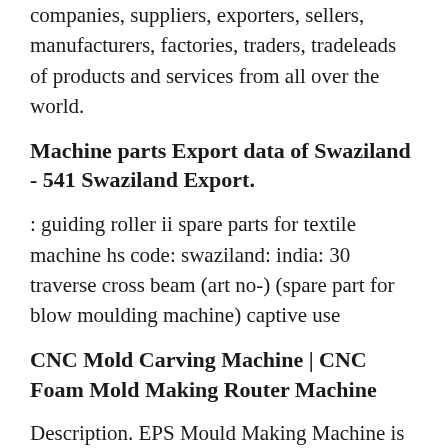companies, suppliers, exporters, sellers, manufacturers, factories, traders, tradeleads of products and services from all over the world.
Machine parts Export data of Swaziland - 541 Swaziland Export.
: guiding roller ii spare parts for textile machine hs code: swaziland: india: 30 traverse cross beam (art no-) (spare part for blow moulding machine) captive use
CNC Mold Carving Machine | CNC Foam Mold Making Router Machine
Description. EPS Mould Making Machine is the heavy-duty CNC Router for all kinds of mold making. Such as wooden wood, Foam mold, aluminum mold, and other non-metal molds. This CNC Router machine is designed with a special machine structure and installed with a high configuration in order to get high speed, high precision,